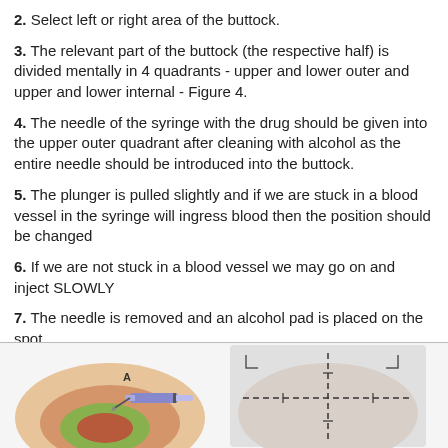2. Select left or right area of the buttock.
3. The relevant part of the buttock (the respective half) is divided mentally in 4 quadrants - upper and lower outer and upper and lower internal - Figure 4.
4. The needle of the syringe with the drug should be given into the upper outer quadrant after cleaning with alcohol as the entire needle should be introduced into the buttock.
5. The plunger is pulled slightly and if we are stuck in a blood vessel in the syringe will ingress blood then the position should be changed
6. If we are not stuck in a blood vessel we may go on and inject SLOWLY
7. The needle is removed and an alcohol pad is placed on the spot.
[Figure (illustration): Two medical illustrations: left showing a syringe needle inserted into buttock tissue cross-section with labeled quadrant (A), right showing buttock divided into quadrants with dashed lines and measurement markers.]